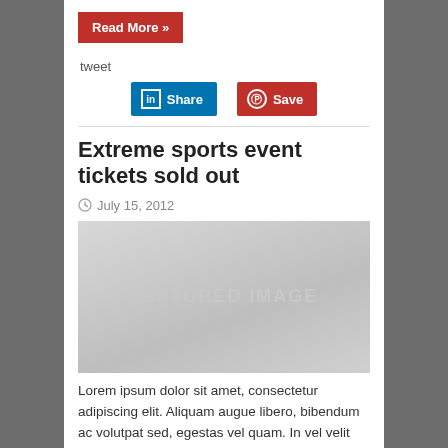Read More »
tweet
[Figure (other): LinkedIn Share button and Pinterest Save button]
Extreme sports event tickets sold out
July 15, 2012
[Figure (photo): Featured image placeholder with text FEATURED IMAGE]
Lorem ipsum dolor sit amet, consectetur adipiscing elit. Aliquam augue libero, bibendum ac volutpat sed, egestas vel quam. In vel velit vitae eros euismod auctor id non odio. Vestibulum non eros